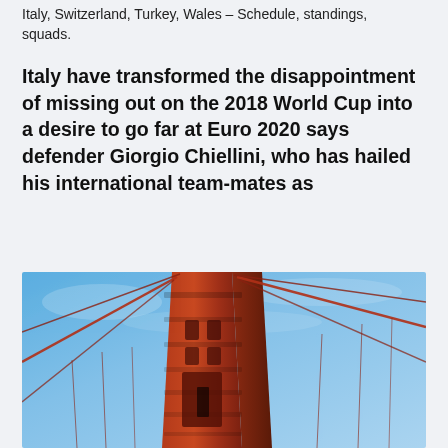Italy, Switzerland, Turkey, Wales – Schedule, standings, squads.
Italy have transformed the disappointment of missing out on the 2018 World Cup into a desire to go far at Euro 2020 says defender Giorgio Chiellini, who has hailed his international team-mates as
[Figure (photo): Low-angle upward view of the Golden Gate Bridge tower against a blue sky, with suspension cables visible.]